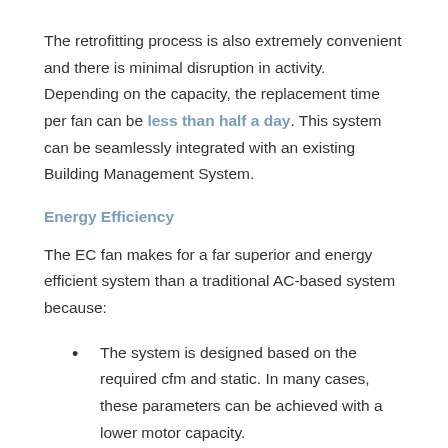The retrofitting process is also extremely convenient and there is minimal disruption in activity. Depending on the capacity, the replacement time per fan can be less than half a day. This system can be seamlessly integrated with an existing Building Management System.
Energy Efficiency
The EC fan makes for a far superior and energy efficient system than a traditional AC-based system because:
The system is designed based on the required cfm and static. In many cases, these parameters can be achieved with a lower motor capacity.